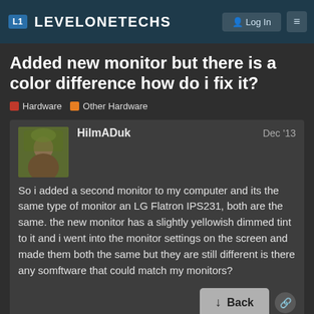L1 LEVELONETECHS
Added new monitor but there is a color difference how do i fix it?
Hardware  Other Hardware
HilmADuk  Dec '13
So i added a second monitor to my computer and its the same type of monitor an LG Flatron IPS231, both are the same. the new monitor has a slightly yellowish dimmed tint to it and i went into the monitor settings on the screen and made them both the same but they are still different is there any somftware that could match my monitors?
created  last reply  8  1/9